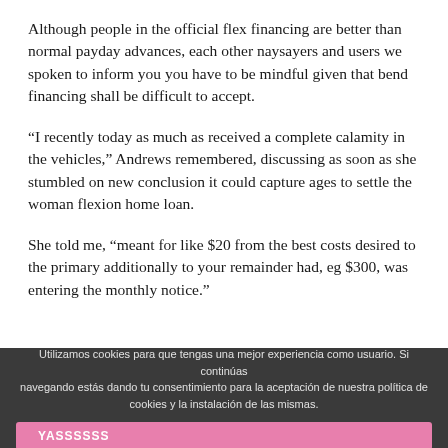Although people in the official flex financing are better than normal payday advances, each other naysayers and users we spoken to inform you you have to be mindful given that bend financing shall be difficult to accept.
“I recently today as much as received a complete calamity in the vehicles,” Andrews remembered, discussing as soon as she stumbled on new conclusion it could capture ages to settle the woman flexion home loan.
She told me, “meant for like $20 from the best costs desired to the primary additionally to your remainder had, eg $300, was entering the monthly notice.”
Utilizamos cookies para que tengas una mejor experiencia como usuario. Si continúas navegando estás dando tu consentimiento para la aceptación de nuestra política de cookies y la instalación de las mismas. YASSSSSS